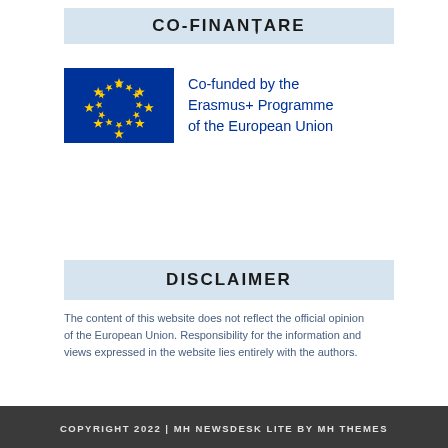CO-FINANȚARE
[Figure (logo): EU flag with circle of yellow stars on blue background, alongside text 'Co-funded by the Erasmus+ Programme of the European Union' in blue]
DISCLAIMER
The content of this website does not reflect the official opinion of the European Union. Responsibility for the information and views expressed in the website lies entirely with the authors.
COPYRIGHT 2022 | MH NEWSDESK LITE BY MH THEMES